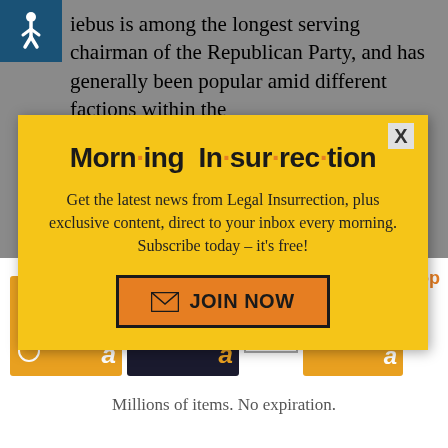[Figure (logo): Wheelchair accessibility icon in white on dark blue square background]
iebus is among the longest serving chairman of the Republican Party, and has generally been popular amid different factions within the
[Figure (screenshot): Morning Insurrection newsletter signup modal popup with yellow background. Title reads 'Morn·ing In·sur·rec·tion' in bold black with orange dots. Body text: 'Get the latest news from Legal Insurrection, plus exclusive content, direct to your inbox every morning. Subscribe today – it's free!' Orange 'JOIN NOW' button with envelope icon. X close button in top right.]
[Figure (screenshot): Amazon gift card advertisement strip showing three gift card thumbnails (happy birthday, plain amazon, congratulations) with a close X button, and text 'Millions of items. No expiration.']